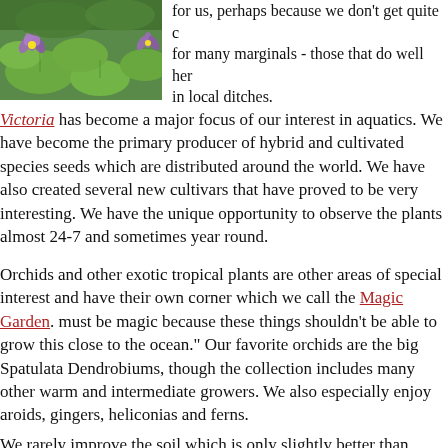[Figure (photo): Photo of water lily pads with purple flowers on water]
for us, perhaps because we don't get quite enough cold for many marginals - those that do well here are found in local ditches.
Victoria has become a major focus of our interest in aquatics. We have become the primary producer of hybrid and cultivated species seeds which are distributed around the world. We have also created several new cultivars that have proved to be very interesting. We have the unique opportunity to observe the plants almost 24-7 and sometimes year round.
Orchids and other exotic tropical plants are other areas of special interest and have their own corner which we call the Magic Garden. must be magic because these things shouldn't be able to grow this close to the ocean." Our favorite orchids are the big Spatulata Dendrobiums, though the collection includes many other warm and intermediate growers. We also especially enjoy aroids, gingers, heliconias and ferns.
We rarely improve the soil which is only slightly better than beach s fertilize regularly and we do the garden work ourselves. We have bu structures and features ourselves and do all the maintenance.
Tour The Garden